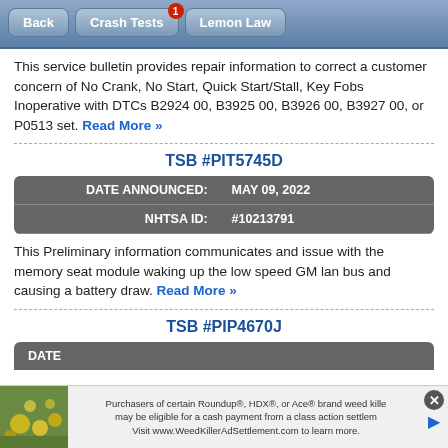Back | Crash Tests (1) | Lemon Law
This service bulletin provides repair information to correct a customer concern of No Crank, No Start, Quick Start/Stall, Key Fobs Inoperative with DTCs B2924 00, B3925 00, B3926 00, B3927 00, or P0513 set. Read More »
TSB #PIT5745D
| DATE ANNOUNCED: | MAY 09, 2022 |
| --- | --- |
| NHTSA ID: | #10213791 |
This Preliminary information communicates and issue with the memory seat module waking up the low speed GM lan bus and causing a battery draw. Read More »
TSB #PIP4670J
[Figure (screenshot): Advertisement banner for Roundup, HDX, or Ace brand weed killer class action settlement]
DATE